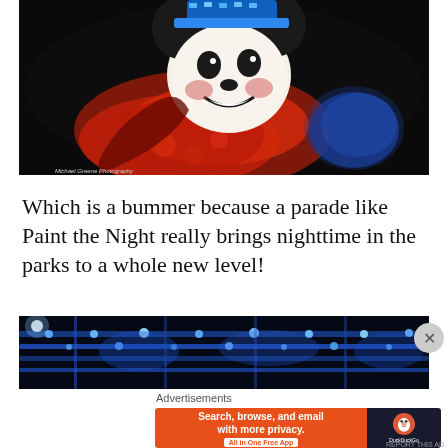[Figure (photo): Mickey Mouse character costume illuminated with blue LED hat and red sparkling jacket at a nighttime parade (Paint the Night)]
Michael Greene Photography
Which is a bummer because a parade like Paint the Night really brings nighttime in the parks to a whole new level!
[Figure (photo): Blue LED lights on a parade float at nighttime, likely from Paint the Night parade]
Advertisements
[Figure (infographic): DuckDuckGo advertisement banner: orange section reads 'Search, browse, and email with more privacy. All in One Free App' and dark section shows DuckDuckGo logo and name]